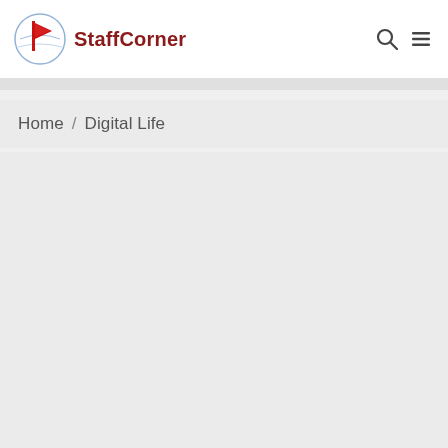StaffCorner
Home / Digital Life